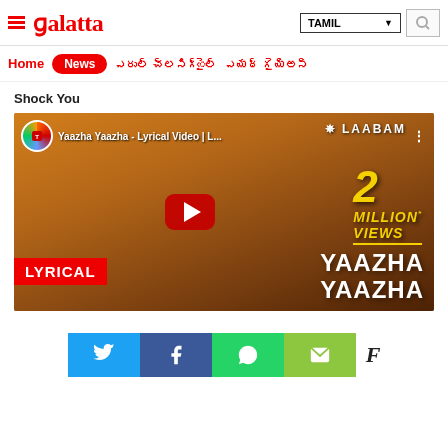Galatta - TAMIL
Home | News
Shock You
[Figure (screenshot): YouTube video thumbnail for 'Yaazha Yaazha - Lyrical Video | L...' showing 2 MILLION VIEWS, with LYRICAL badge and YAAZHA YAAZHA text, from the movie Laabam]
[Figure (infographic): Social sharing buttons: Twitter (blue), Facebook (dark blue), WhatsApp (green), Email (olive green), and a Flipboard icon]